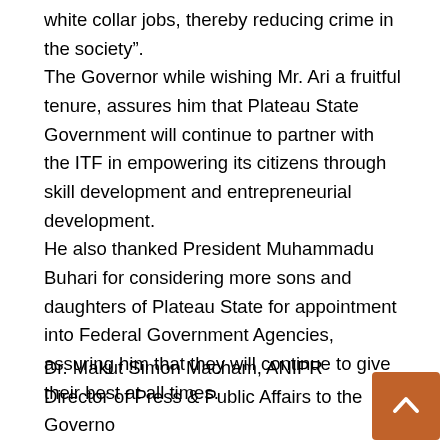white collar jobs, thereby reducing crime in the society".
The Governor while wishing Mr. Ari a fruitful tenure, assures him that Plateau State Government will continue to partner with the ITF in empowering its citizens through skill development and entrepreneurial development.
He also thanked President Muhammadu Buhari for considering more sons and daughters of Plateau State for appointment into Federal Government Agencies, assuring him that they will continue to give their best at all times.
Dr. Makut Simon Macham, ANIPR
Director of Press & Public Affairs to the Governor